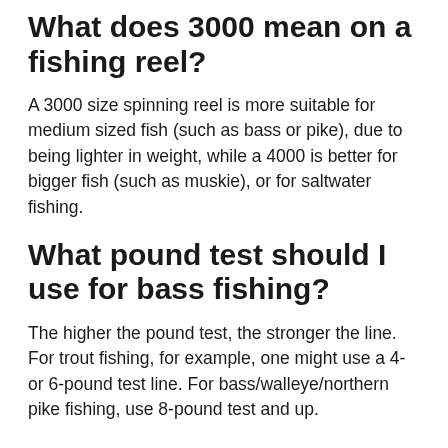What does 3000 mean on a fishing reel?
A 3000 size spinning reel is more suitable for medium sized fish (such as bass or pike), due to being lighter in weight, while a 4000 is better for bigger fish (such as muskie), or for saltwater fishing.
What pound test should I use for bass fishing?
The higher the pound test, the stronger the line. For trout fishing, for example, one might use a 4- or 6-pound test line. For bass/walleye/northern pike fishing, use 8-pound test and up.